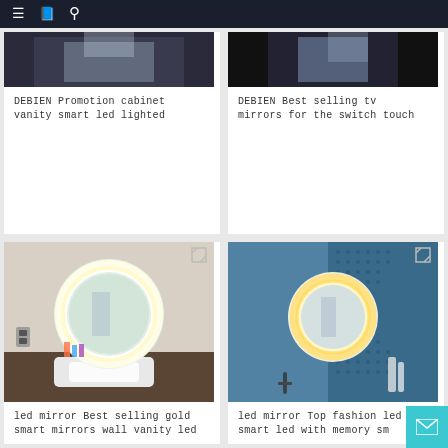Navigation bar with menu, bookmark, and search icons
[Figure (photo): Partial top view of a bathroom cabinet vanity with smart LED lighting]
DEBIEN Promotion cabinet vanity smart led lighted
[Figure (photo): Partial top view of a TV mirror with touch switch]
DEBIEN Best selling tv mirrors for the switch touch
[Figure (photo): Round LED backlit bathroom mirror above a sink with wooden vanity cabinet]
led mirror Best selling gold smart mirrors wall vanity led
[Figure (photo): Round LED mirror mounted on a blue tiled bathroom wall]
led mirror Top fashion led smart led with memory sm